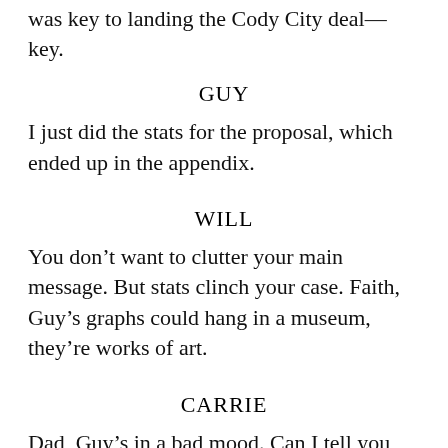was key to landing the Cody City deal—key.
GUY
I just did the stats for the proposal, which ended up in the appendix.
WILL
You don’t want to clutter your main message. But stats clinch your case. Faith, Guy’s graphs could hang in a museum, they’re works of art.
CARRIE
Dad, Guy’s in a bad mood. Can I tell you my news? I have major news.
WILL